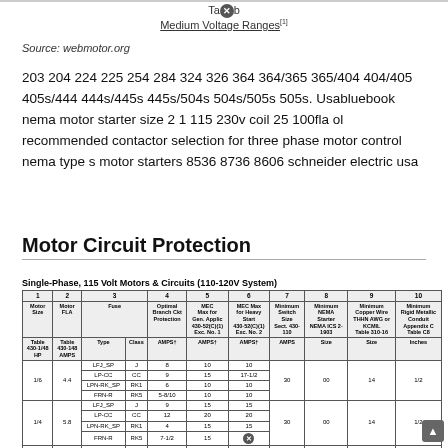Table — Medium Voltage Ranges
Source: webmotor.org
203 204 224 225 254 284 324 326 364 364/365 365/404 404/405 405s/444 444s/445s 445s/504s 504s/505s 505s. Usabluebook nema motor starter size 2 1 115 230v coil 25 100fla ol recommended contactor selection for three phase motor control nema type s motor starters 8536 8736 8606 schneider electric usa
Motor Circuit Protection
Single-Phase, 115 Volt Motors & Circuits (110-120V System)
| 1 Motor Size | 2 Motor FLA | 3 Fuse Type | 3 Fuse Class | 4 Optimal Branch Ckt Protection AMPS† | 5 MEC Max for Gen. Applic 430-52(C)(1) Exc. No. 1 AMPS† | 6 MEC Max for Heavy Start 430-52(C)(1) Exc. No. 2 AMPS† | 7 Minimum Switch Size Sect. 430-110 AMPS | 8 Minimum NEMA Starter NEMA ICS 2-1903 Size | 9 Minimum Copper Wire THHN AWG or KCMIL Table 310-16 Size | 10 Minimum Rigid Metallic Conduit Appendix C Table C8 Inches |
| --- | --- | --- | --- | --- | --- | --- | --- | --- | --- | --- |
| 1/6 | 4.4 | LFJ_SP
LP-CC
LPN-RK_SP
FRN-R | J
CC
RK1
RK5 | 8
9
6
5-8/10 | 10
15
10
10 | 10
17-1/2
10
10 | 30 | 00 | 14 | 1/2 |
| 1/4 | 5.8 | LFJ_SP
LP-CC
LPN-RK_SP
FRN-R | J
CC
RK1
RK5 | 9
12
4
7-1/2 | 15
20
15
15 | 15
20
15
[icon] | 30 | 00 | 14 | 1/2 |
|  |  | LFJ_SP | J | 12 | 15 | 15 |  |  |  |  |